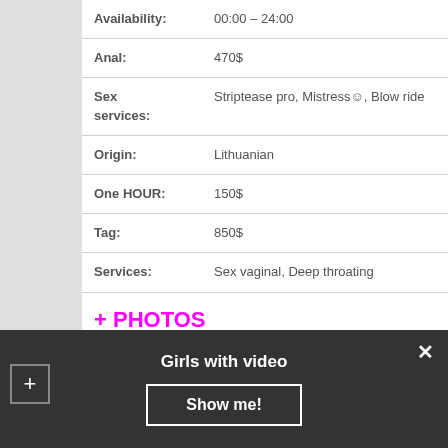| Field | Value |
| --- | --- |
| Availability: | 00:00 – 24:00 |
| Anal: | 470$ |
| Sex services: | Striptease pro, Mistress☺, Blow ride |
| Origin: | Lithuanian |
| One HOUR: | 150$ |
| Tag: | 850$ |
| Services: | Sex vaginal, Deep throating |
+ PHOTOS
Thank you.
Girls with video
Show me!